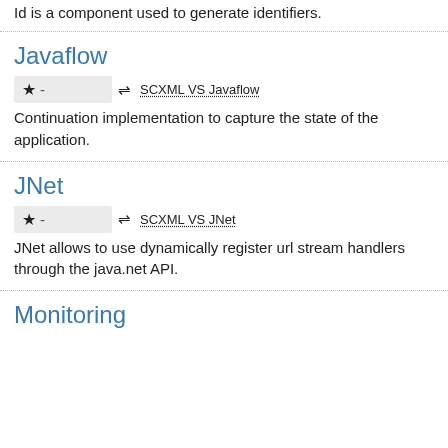Id is a component used to generate identifiers.
Javaflow
[Figure (other): Star badge with dash and link: ⇌ SCXML VS Javaflow]
Continuation implementation to capture the state of the application.
JNet
[Figure (other): Star badge with dash and link: ⇌ SCXML VS JNet]
JNet allows to use dynamically register url stream handlers through the java.net API.
Monitoring